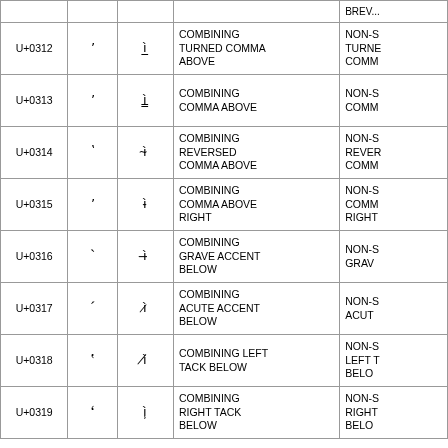| Code | Char | Sample | Name | Alias |
| --- | --- | --- | --- | --- |
| U+0312 | ʻ | ìͲ | COMBINING TURNED COMMA ABOVE | NON-S TURNE COMM |
| U+0313 | ʼ | ìͳ | COMBINING COMMA ABOVE | NON-S COMM |
| U+0314 | ʽ | ìͶ | COMBINING REVERSED COMMA ABOVE | NON-S REVER COMM |
| U+0315 | ʼ | ìͷ | COMBINING COMMA ABOVE RIGHT | NON-S COMM RIGHT |
| U+0316 | ˋ | ì͸ | COMBINING GRAVE ACCENT BELOW | NON-S GRAV |
| U+0317 | ˊ | ì͹ | COMBINING ACUTE ACCENT BELOW | NON-S ACUT |
| U+0318 | ˓ | ìͺ | COMBINING LEFT TACK BELOW | NON-S LEFT T BELO |
| U+0319 | ˒ | ìͻ | COMBINING RIGHT TACK BELOW | NON-S RIGHT BELO |